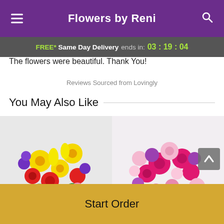Flowers by Reni
FREE* Same Day Delivery ends in: 03 : 19 : 04
The flowers were beautiful. Thank You!
Reviews Sourced from Lovingly
You May Also Like
[Figure (photo): Two floral arrangement bouquets: left bouquet with colorful mixed flowers including yellow, red, purple; right bouquet with pink and magenta flowers.]
Start Order